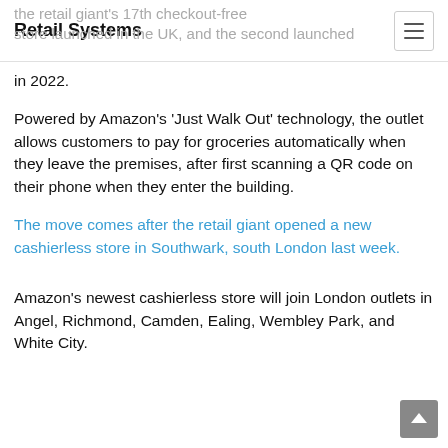Retail Systems
store launched in the UK, and the second launched in 2022.
Powered by Amazon’s ‘Just Walk Out’ technology, the outlet allows customers to pay for groceries automatically when they leave the premises, after first scanning a QR code on their phone when they enter the building.
The move comes after the retail giant opened a new cashierless store in Southwark, south London last week.
Amazon’s newest cashierless store will join London outlets in Angel, Richmond, Camden, Ealing, Wembley Park, and White City.